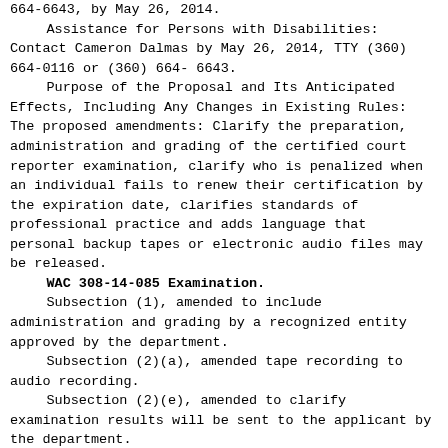664-6643, by May 26, 2014.
Assistance for Persons with Disabilities: Contact Cameron Dalmas by May 26, 2014, TTY (360) 664-0116 or (360) 664-6643.
Purpose of the Proposal and Its Anticipated Effects, Including Any Changes in Existing Rules: The proposed amendments: Clarify the preparation, administration and grading of the certified court reporter examination, clarify who is penalized when an individual fails to renew their certification by the expiration date, clarifies standards of professional practice and adds language that personal backup tapes or electronic audio files may be released.
WAC 308-14-085 Examination.
Subsection (1), amended to include administration and grading by a recognized entity approved by the department.
Subsection (2)(a), amended tape recording to audio recording.
Subsection (2)(e), amended to clarify examination results will be sent to the applicant by the department.
Subsection (3)(b), removed requirement